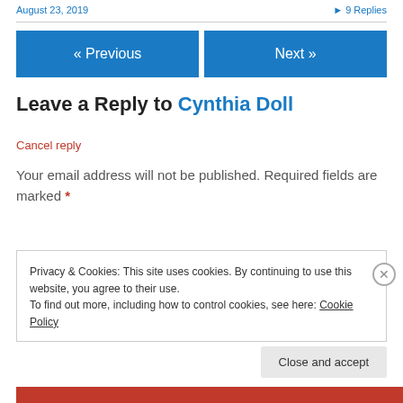August 23, 2019   ▸ 9 Replies
« Previous   Next »
Leave a Reply to Cynthia Doll
Cancel reply
Your email address will not be published. Required fields are marked *
Privacy & Cookies: This site uses cookies. By continuing to use this website, you agree to their use.
To find out more, including how to control cookies, see here: Cookie Policy
Close and accept